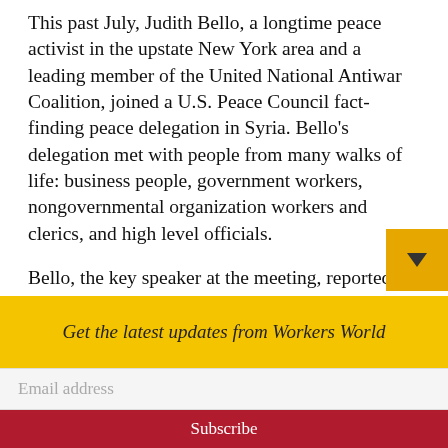This past July, Judith Bello, a longtime peace activist in the upstate New York area and a leading member of the United National Antiwar Coalition, joined a U.S. Peace Council fact-finding peace delegation in Syria. Bello's delegation met with people from many walks of life: business people, government workers, nongovernmental organization workers and clerics, and high level officials.
Bello, the key speaker at the meeting, reported that Syria is a modern country
Get the latest updates from Workers World
Email address
Subscribe